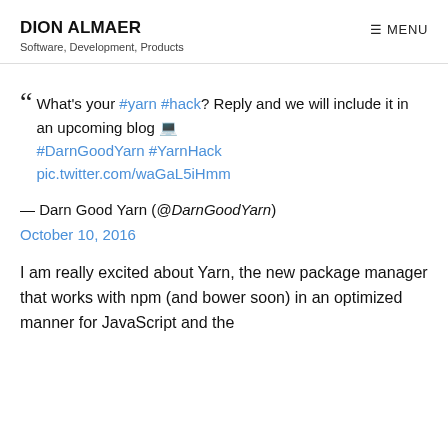DION ALMAER
Software, Development, Products
MENU
“ What's your #yarn #hack? Reply and we will include it in an upcoming blog 💻 #DarnGoodYarn #YarnHack pic.twitter.com/waGaL5iHmm
— Darn Good Yarn (@DarnGoodYarn)
October 10, 2016
I am really excited about Yarn, the new package manager that works with npm (and bower soon) in an optimized manner for JavaScript and the